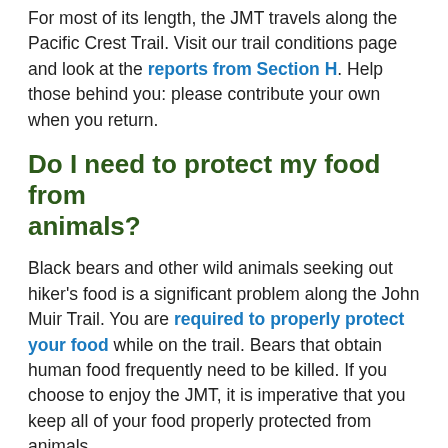For most of its length, the JMT travels along the Pacific Crest Trail. Visit our trail conditions page and look at the reports from Section H. Help those behind you: please contribute your own when you return.
Do I need to protect my food from animals?
Black bears and other wild animals seeking out hiker's food is a significant problem along the John Muir Trail. You are required to properly protect your food while on the trail. Bears that obtain human food frequently need to be killed. If you choose to enjoy the JMT, it is imperative that you keep all of your food properly protected from animals.
Where are the PCT and JMT different?
For most of its length, the John Muir Trail uses the Pacific Crest Trail. There are three places where the JMT